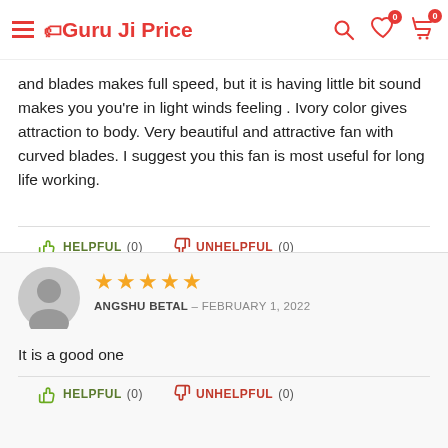Guru Ji Price
and blades makes full speed, but it is having little bit sound makes you you're in light winds feeling . Ivory color gives attraction to body. Very beautiful and attractive fan with curved blades. I suggest you this fan is most useful for long life working.
HELPFUL (0)   UNHELPFUL (0)
★★★★★
ANGSHU BETAL – FEBRUARY 1, 2022
It is a good one
HELPFUL (0)   UNHELPFUL (0)